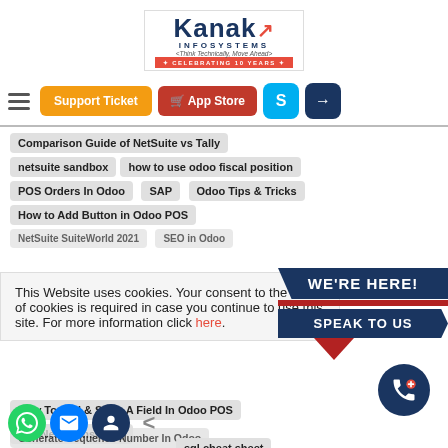[Figure (logo): Kanak Infosystems logo with tagline 'Think Technically, Move Ahead' and 'Celebrating 10 Years' banner]
[Figure (screenshot): Navigation bar with hamburger menu, Support Ticket button (orange), App Store button (red), Skype icon (blue), Login icon (dark blue)]
Comparison Guide of NetSuite vs Tally
netsuite sandbox
how to use odoo fiscal position
POS Orders In Odoo
SAP
Odoo Tips & Tricks
How to Add Button in Odoo POS
NetSuite SuiteWorld 2021
SEO in Odoo
This Website uses cookies. Your consent to the use of cookies is required in case you continue to use this site. For more information click here.
[Figure (infographic): WE'RE HERE! SPEAK TO US banner in dark navy blue with red arrow pointing down, and a phone icon circle]
How To Add & Store A Field In Odoo POS
ERPNext Consulting
Generate Sequence Number In Odoo
sql cheat sheet
country in Odoo
[Figure (infographic): Bottom action icons: WhatsApp (green), email (blue), contact (dark blue), arrow left]